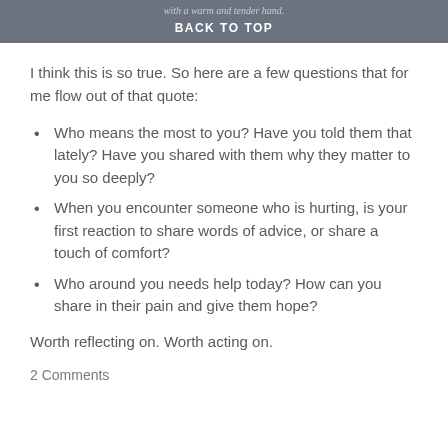with a warm and tender hand. BACK TO TOP
I think this is so true. So here are a few questions that for me flow out of that quote:
Who means the most to you? Have you told them that lately? Have you shared with them why they matter to you so deeply?
When you encounter someone who is hurting, is your first reaction to share words of advice, or share a touch of comfort?
Who around you needs help today? How can you share in their pain and give them hope?
Worth reflecting on. Worth acting on.
2 Comments